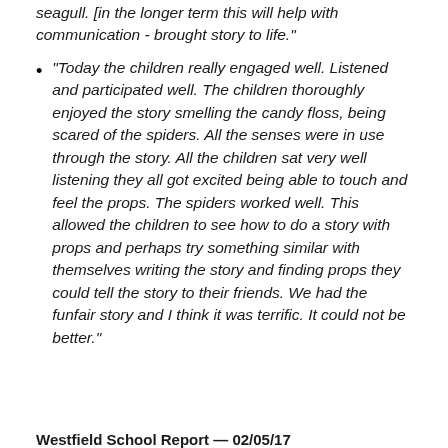seagull. [in the longer term this will help with communication - brought story to life."
"Today the children really engaged well. Listened and participated well. The children thoroughly enjoyed the story smelling the candy floss, being scared of the spiders. All the senses were in use through the story. All the children sat very well listening they all got excited being able to touch and feel the props. The spiders worked well. This allowed the children to see how to do a story with props and perhaps try something similar with themselves writing the story and finding props they could tell the story to their friends. We had the funfair story and I think it was terrific. It could not be better."
Westfield School Report — 02/05/17